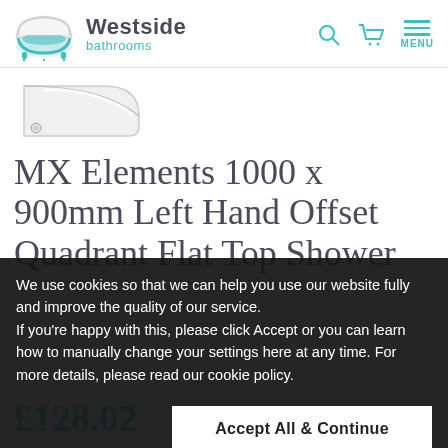Westside bathrooms
[Figure (photo): Partial product image of an offset quadrant shower tray, white, viewed from above at an angle]
MX Elements 1000 x 900mm Left Hand Offset Quadrant Flat Top Shower
We use cookies so that we can help you use our website fully and improve the quality of our service. If you're happy with this, please click Accept or you can learn how to manually change your settings here at any time. For more details, please read our cookie policy.
£128.02